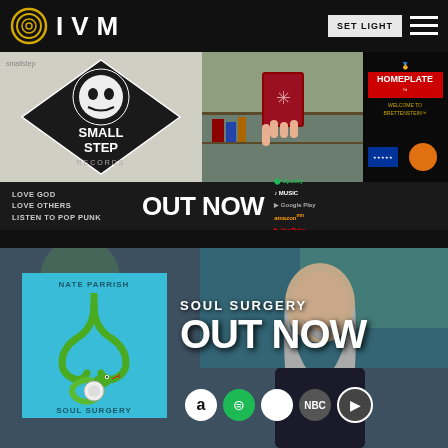[Figure (screenshot): IVM website header with logo (concentric circles + IVM text), SET LIGHT button, and hamburger menu on dark background]
[Figure (screenshot): Top promotional banner: Small Step Records with skull/astronaut logo, comic-style hand holding red book, Homeplate Welcome to Brettenstein album art. Text: LOVE GOD LOVE OTHERS LISTEN TO POP PUNK | OUT NOW | Spotify, Apple Music, Google Play, Amazon, YouTube]
[Figure (screenshot): Bottom promotional banner: Nate Parrish Soul Surgery album art (teal background, snake stethoscope). Photo of long-haired man. Text: SOUL SURGERY OUT NOW with streaming icons (Amazon, Spotify, Apple, NBC, Play)]